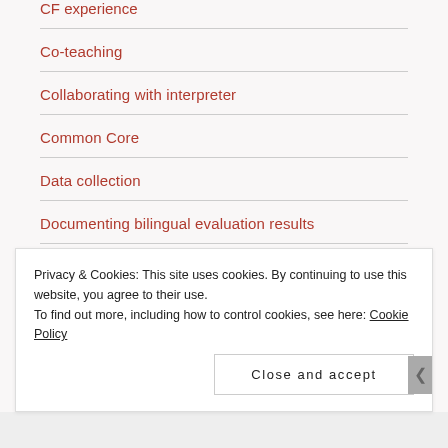CF experience
Co-teaching
Collaborating with interpreter
Common Core
Data collection
Documenting bilingual evaluation results
Educational impact
Privacy & Cookies: This site uses cookies. By continuing to use this website, you agree to their use.
To find out more, including how to control cookies, see here: Cookie Policy
Close and accept